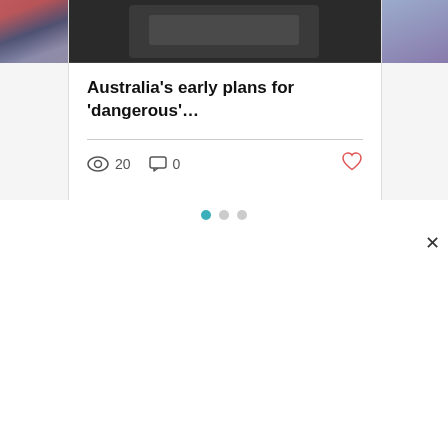[Figure (screenshot): Article card with headline 'Australia's early plans for 'dangerous'...' showing view count 20, comment count 0, and a heart/like icon. Thumbnail images visible on left and right edges.]
Australia's early plans for ‘dangerous’…
20   0
We use cookies to help us improve your user experience. We have updated our Cookie Policy to embrace changes in the law governing both cookie and tracking technologies used on websites. If you continue on this website, you will be providing your consent to our use of cookies. See Privacy Policy
Decline All
Accept
Cookie Settings